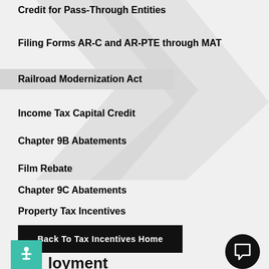Credit for Pass-Through Entities
Filing Forms AR-C and AR-PTE through MAT
Railroad Modernization Act
Income Tax Capital Credit
Chapter 9B Abatements
Film Rebate
Chapter 9C Abatements
Property Tax Incentives
Back To Tax Incentives Home
[Figure (logo): Teal accessibility icon with person figure]
[Figure (other): Black circular chat/comment button]
loyment (partial, bottom of page)